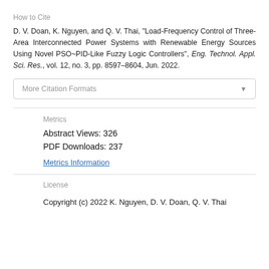How to Cite
D. V. Doan, K. Nguyen, and Q. V. Thai, "Load-Frequency Control of Three-Area Interconnected Power Systems with Renewable Energy Sources Using Novel PSO~PID-Like Fuzzy Logic Controllers", Eng. Technol. Appl. Sci. Res., vol. 12, no. 3, pp. 8597–8604, Jun. 2022.
More Citation Formats
Metrics
Abstract Views: 326
PDF Downloads: 237
Metrics Information
License
Copyright (c) 2022 K. Nguyen, D. V. Doan, Q. V. Thai